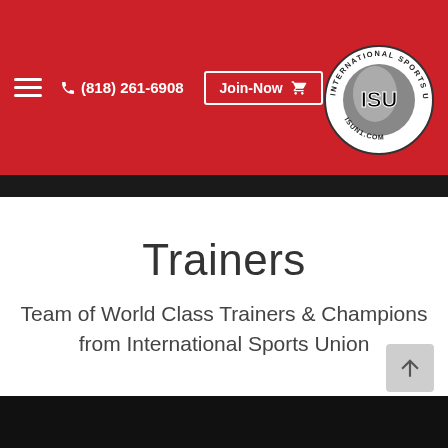(818) 261-6908  Join-Now
[Figure (logo): International Sports Union circular logo with ISU text and ISUN1.COM at bottom]
Trainers
Team of World Class Trainers & Champions from International Sports Union